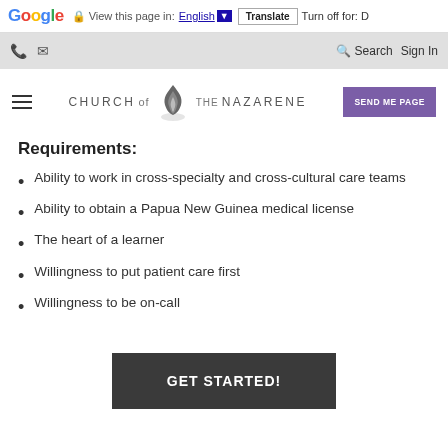Google  View this page in: English [▼]  Translate  Turn off for: D
📞 ✉  Search  Sign In
[Figure (logo): Church of the Nazarene logo with flame icon and SEND ME PAGE button]
Requirements:
Ability to work in cross-specialty and cross-cultural care teams
Ability to obtain a Papua New Guinea medical license
The heart of a learner
Willingness to put patient care first
Willingness to be on-call
GET STARTED!